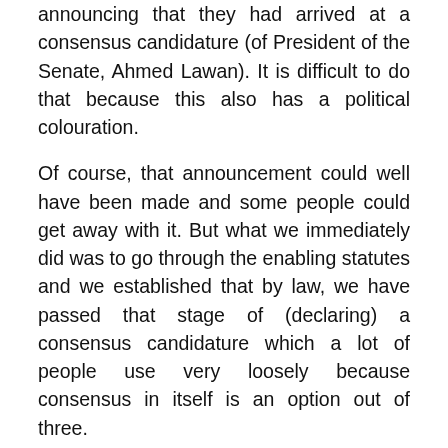announcing that they had arrived at a consensus candidature (of President of the Senate, Ahmed Lawan). It is difficult to do that because this also has a political colouration.
Of course, that announcement could well have been made and some people could get away with it. But what we immediately did was to go through the enabling statutes and we established that by law, we have passed that stage of (declaring) a consensus candidature which a lot of people use very loosely because consensus in itself is an option out of three.
T-Mobile, SpaceX Partner to Boost Connectivity in Areas
4 hours ago